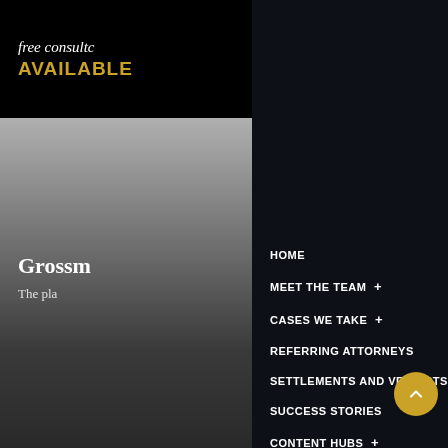free consultc AVAILABLE
Grossm
The pla
HOME
MEET THE TEAM +
CASES WE TAKE +
REFERRING ATTORNEYS
SETTLEMENTS AND VERDICTS
SUCCESS STORIES
CONTENT HUBS +
LOCATIONS WE SERVE +
If you are in Texas a pursue a w you won't